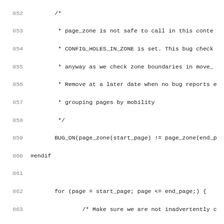[Figure (screenshot): Source code listing showing lines 852-883 of a C source file with line numbers, featuring a function with a bug check comment, BUG_ON, #endif, a for loop iterating pages, pfn_valid_within check, PageBuddy check, and list_move operations on page order and pages_moved.]